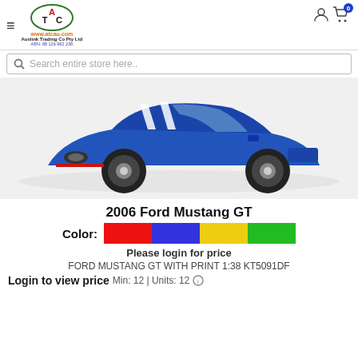ATC www.atcau.com Auslink Trading Co Pty Ltd ABN: 88 126 982 238
Search entire store here..
[Figure (photo): Blue 2006 Ford Mustang GT die-cast model car with white racing stripes, 3/4 front view on white background]
2006 Ford Mustang GT
Color: [red swatch] [blue swatch] [yellow swatch] [green swatch]
Please login for price
FORD MUSTANG GT WITH PRINT 1:38 KT5091DF
Login to view price Min: 12 Units: 12